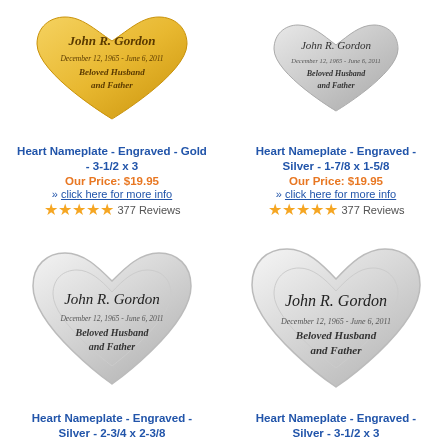[Figure (illustration): Gold heart-shaped nameplate engraved with John R. Gordon, December 12, 1965 - June 6, 2011, Beloved Husband and Father]
[Figure (illustration): Silver heart-shaped nameplate engraved with John R. Gordon, December 12, 1965 - June 6, 2011, Beloved Husband and Father (small size)]
Heart Nameplate - Engraved - Gold - 3-1/2 x 3
Heart Nameplate - Engraved - Silver - 1-7/8 x 1-5/8
Our Price: $19.95
Our Price: $19.95
» click here for more info
» click here for more info
377 Reviews
377 Reviews
[Figure (illustration): Silver heart-shaped nameplate engraved with John R. Gordon, December 12, 1965 - June 6, 2011, Beloved Husband and Father (medium size)]
[Figure (illustration): Silver heart-shaped nameplate engraved with John R. Gordon, December 12, 1965 - June 6, 2011, Beloved Husband and Father (large size)]
Heart Nameplate - Engraved - Silver - 2-3/4 x 2-3/8
Heart Nameplate - Engraved - Silver - 3-1/2 x 3